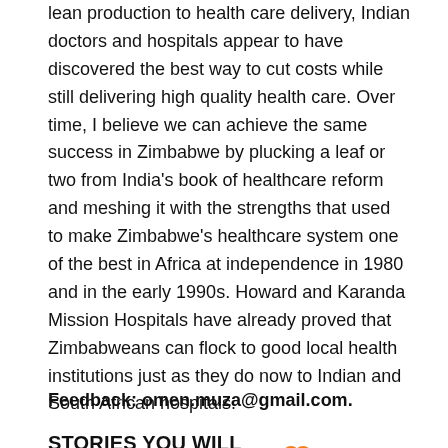lean production to health care delivery, Indian doctors and hospitals appear to have discovered the best way to cut costs while still delivering high quality health care. Over time, I believe we can achieve the same success in Zimbabwe by plucking a leaf or two from India's book of healthcare reform and meshing it with the strengths that used to make Zimbabwe's healthcare system one of the best in Africa at independence in 1980 and in the early 1990s. Howard and Karanda Mission Hospitals have already proved that Zimbabweans can flock to good local health institutions just as they do now to Indian and South African hospitals.
Feedback: omen.muza@gmail.com.
STORIES YOU WILL ENJOY
[Figure (photo): Partial photo of a person visible at the bottom of the page]